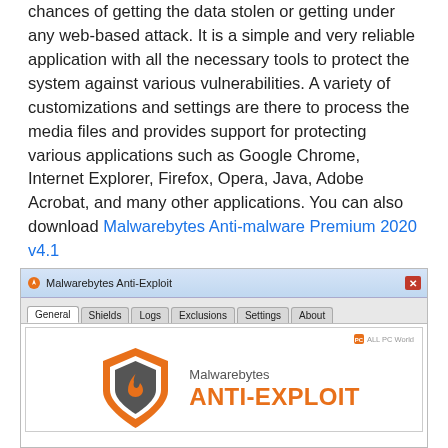chances of getting the data stolen or getting under any web-based attack. It is a simple and very reliable application with all the necessary tools to protect the system against various vulnerabilities. A variety of customizations and settings are there to process the media files and provides support for protecting various applications such as Google Chrome, Internet Explorer, Firefox, Opera, Java, Adobe Acrobat, and many other applications. You can also download Malwarebytes Anti-malware Premium 2020 v4.1
[Figure (screenshot): Screenshot of Malwarebytes Anti-Exploit application window showing the General tab selected with tabs for Shields, Logs, Exclusions, Settings, About. The content area shows the Malwarebytes Anti-Exploit logo with an orange shield icon and text 'Malwarebytes ANTI-EXPLOIT'. An 'ALL PC World' watermark is visible in the top right of the content area.]